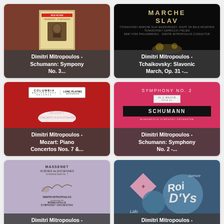[Figure (illustration): Album cover for Dimitri Mitropoulos - Schumann: Sympony No. 3, RCA Victor label, brown background with a portrait illustration]
Dimitri Mitropoulos - Schumann: Sympony No. 3...
[Figure (illustration): Album cover for Dimitri Mitropoulos - Tchaikovsky: Slavonic March, Op. 31, dark background with golden instrument imagery and MARCHE SLAV text]
Dimitri Mitropoulos - Tchaikovsky: Slavonic March, Op. 31 -...
[Figure (illustration): Album cover for Dimitri Mitropoulos - Mozart: Piano Concertos Nos. 7 &..., Columbia Masterworks Records, red background]
Dimitri Mitropoulos - Mozart: Piano Concertos Nos. 7 &...
[Figure (illustration): Album cover for Dimitri Mitropoulos - Schumann: Symphony No. 2, pink/magenta background with SYMPHONY NO. 2 and SCHUMANN text]
Dimitri Mitropoulos - Schumann: Symphony No. 2 -...
[Figure (illustration): Album cover for Dimitri Mitropoulos - Massenet: Scènes, lavender/purple background with Massenet Scènes Alsaciennes text and orchestral imagery]
Dimitri Mitropoulos - Massenet: Scènes...
[Figure (illustration): Album cover for Dimitri Mitropoulos - Lalo: Le Roi d'Ys, teal/blue background with Roi d'Ys stylized text and geometric shapes]
Dimitri Mitropoulos - Lalo: Le Roi d'Ys -...